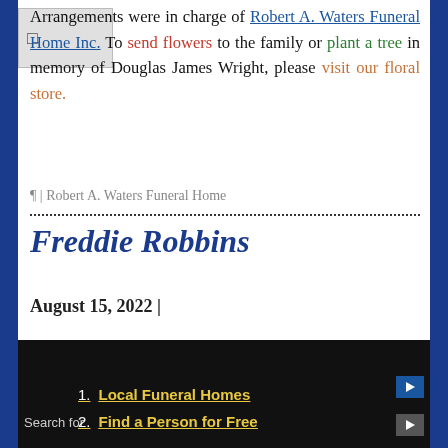Arrangements were in charge of Robert A. Waters Funeral Home Inc. To send flowers to the family or plant a tree in memory of Douglas James Wright, please visit our floral store.
¶ | Robert A. Waters Funeral Home
Freddie Robbins
August 15, 2022 |
By Administrator | Posted in: Robert A. Waters Funeral Home
Freddie Robbins, 88, of McKeesport, Pennsylvania was born September 26, 1933, in Columbia, South
1. Local Funeral Homes
2. Find a Person for Free